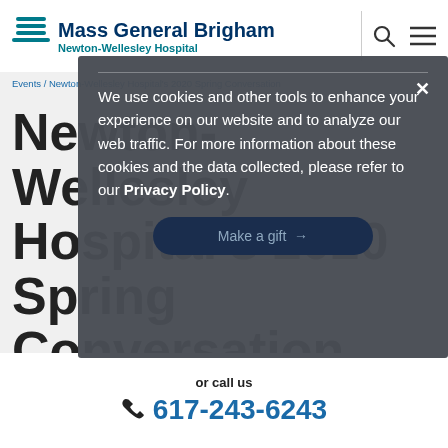Mass General Brigham Newton-Wellesley Hospital
Events / Newton-Wellesley Hospital's 2020 Spring Conversation
Newton-Wellesley Hospital's 2020 Spring Conversation
We use cookies and other tools to enhance your experience on our website and to analyze our web traffic. For more information about these cookies and the data collected, please refer to our Privacy Policy.
Make a gift →
or call us
617-243-6243